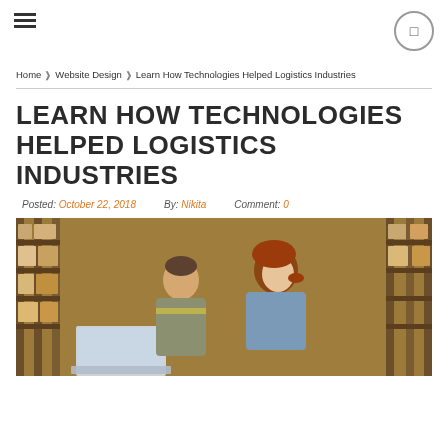☰  🔍
Home  ❯  Website Design  ❯  Learn How Technologies Helped Logistics Industries
LEARN HOW TECHNOLOGIES HELPED LOGISTICS INDUSTRIES
Posted: October 22, 2018  By: Nikita  Comment: 0
[Figure (photo): Two warehouse workers, a man and a woman with red hair, reviewing information on a laptop inside a large warehouse with shelves stacked with boxes and packages.]